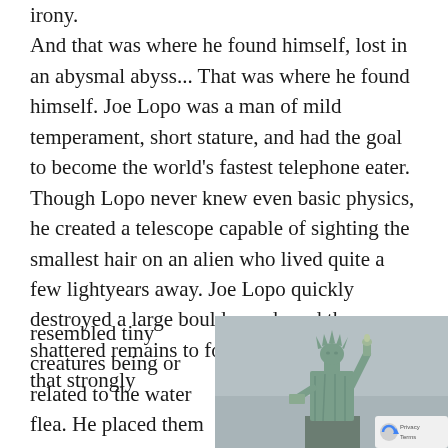irony. And that was where he found himself, lost in an abysmal abyss... That was where he found himself. Joe Lopo was a man of mild temperament, short stature, and had the goal to become the world's fastest telephone eater. Though Lopo never knew even basic physics, he created a telescope capable of sighting the smallest hair on an alien who lived quite a few lightyears away. Joe Lopo quickly destroyed a large boulder and used the shattered remains to form eight small statues that strongly
resembled tiny creatures being or related to the water flea. He placed them in a
[Figure (photo): Photograph of the Statue of Liberty against a grey overcast sky, showing the statue from the base to the torch, with greenish-blue patina coloring.]